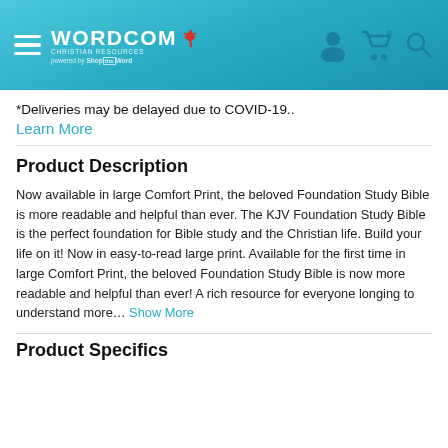WORDCOM CHRISTIAN RESOURCES — powered by ShopTheWord
*Deliveries may be delayed due to COVID-19..
Learn More
Product Description
Now available in large Comfort Print, the beloved Foundation Study Bible is more readable and helpful than ever. The KJV Foundation Study Bible is the perfect foundation for Bible study and the Christian life. Build your life on it! Now in easy-to-read large print. Available for the first time in large Comfort Print, the beloved Foundation Study Bible is now more readable and helpful than ever! A rich resource for everyone longing to understand more… Show More
Product Specifics